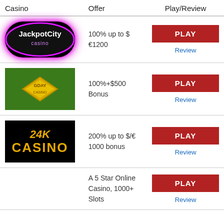| Casino | Offer | Play/Review |
| --- | --- | --- |
| JackpotCity casino [logo] | 100% up to $€1200 | PLAY / Review |
| GDay Casino [logo] | 100%+$500 Bonus | PLAY / Review |
| 24K Casino [logo] | 200% up to $/€ 1000 bonus | PLAY / Review |
| [logo] | A 5 Star Online Casino, 1000+ Slots | PLAY / Review |